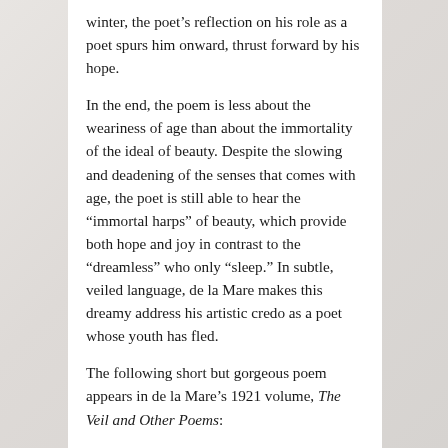winter, the poet's reflection on his role as a poet spurs him onward, thrust forward by his hope.
In the end, the poem is less about the weariness of age than about the immortality of the ideal of beauty. Despite the slowing and deadening of the senses that comes with age, the poet is still able to hear the “immortal harps” of beauty, which provide both hope and joy in contrast to the “dreamless” who only “sleep.” In subtle, veiled language, de la Mare makes this dreamy address his artistic credo as a poet whose youth has fled.
The following short but gorgeous poem appears in de la Mare’s 1921 volume, The Veil and Other Poems: